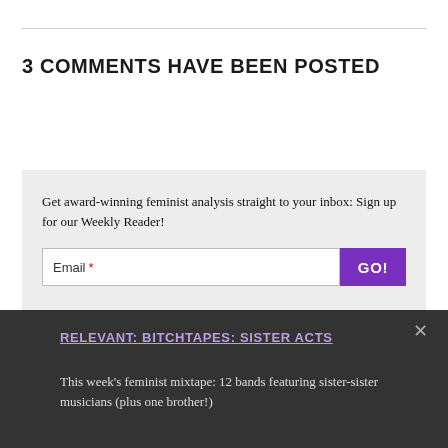3 COMMENTS HAVE BEEN POSTED
Get award-winning feminist analysis straight to your inbox: Sign up for our Weekly Reader!
Email * GO!
RELEVANT: BITCHTAPES: SISTER ACTS
This week's feminist mixtape: 12 bands featuring sister-sister musicians (plus one brother!)